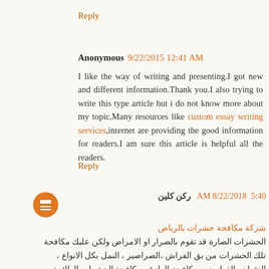Reply
Anonymous 9/22/2015 12:41 AM
I like the way of writing and presenting.I got new and different information.Thank you.I also trying to write this type article but i do not know more about my topic.Many resources like custom essay writing services,internet are providing the good information for readers.I am sure this article is helpful all the readers.
Reply
ركن كلين 8/22/2018 5:40 AM
شركة مكافحة حشرات بالرياض
الحشرات الضارة قد تقوم بالضرار او الامراض ولكن عليك مكافحة تلك الحشرات من بق الفراش ،الصراصير ، النمل بكل الانواع ، الفئران والقوارض ، مكافحة الوازغ ، مكافحة الحشرات الطائرة من ناموس وهاموش وذباب .ايضا مكافحة الحمام
شركة مكافحة الفئران بالرياض
شركة مكافحة التوابين بالرياض